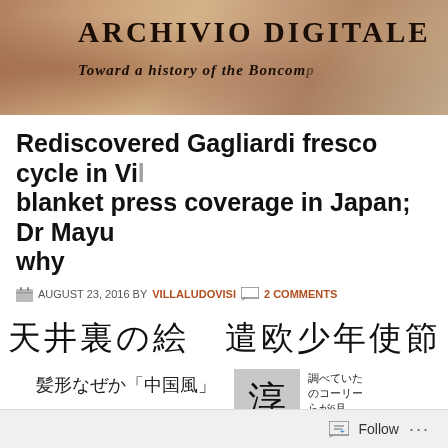[Figure (screenshot): Website header banner for 'Archivio Digitale' with decorative background showing stone/fresco texture. Title reads 'ARCHIVIO DIGITALE' and subtitle 'Toward a history of the Boncomp[agni-Ludovisi]']
Rediscovered Gagliardi fresco cycle in Vi[lla] blanket press coverage in Japan; Dr Mayu[mi explains] why
AUGUST 23, 2016 BY VILLALUDOVISI   2 COMMENTS
[Figure (screenshot): Japanese newspaper article screenshot showing large Japanese text: 天井裏の絵 遣欧少年使節 (Painting behind ceiling, Tensho Embassy boys) and 髪形なぜか「中国風」 (Hairstyle for some reason 'Chinese style') with a large character 淳 in a gray box and additional Japanese text columns on the right.]
Follow   ...